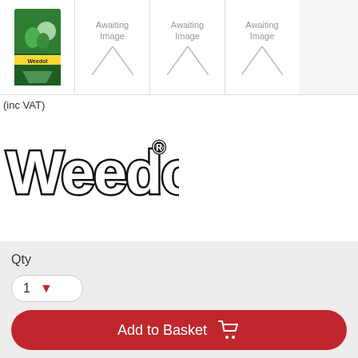[Figure (screenshot): Product image strip showing one Weedol product image and three 'Awaiting Image' placeholders]
(inc VAT)
[Figure (logo): Weedol brand logo with bold outlined text and registered trademark symbol]
Qty
1
Add to Basket